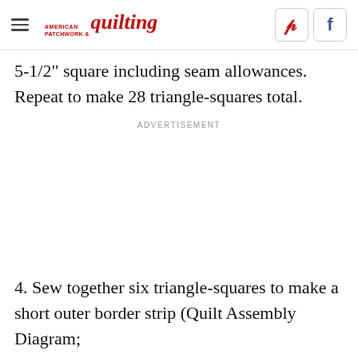American Patchwork & Quilting
5-1/2" square including seam allowances. Repeat to make 28 triangle-squares total.
ADVERTISEMENT
4. Sew together six triangle-squares to make a short outer border strip (Quilt Assembly Diagram;